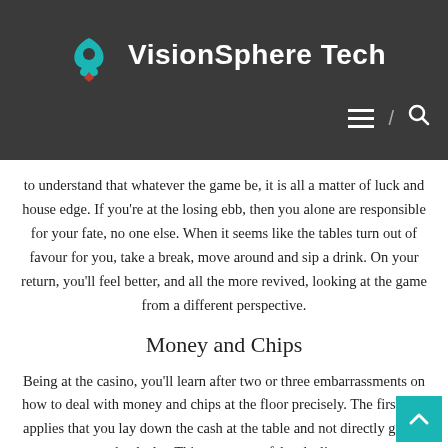[Figure (logo): VisionSphere Tech logo with teal spade/wing icon and white bold text on dark background, with hamburger menu and search icons]
to understand that whatever the game be, it is all a matter of luck and house edge. If you're at the losing ebb, then you alone are responsible for your fate, no one else. When it seems like the tables turn out of favour for you, take a break, move around and sip a drink. On your return, you'll feel better, and all the more revived, looking at the game from a different perspective.
Money and Chips
Being at the casino, you'll learn after two or three embarrassments on how to deal with money and chips at the floor precisely. The first rule applies that you lay down the cash at the table and not directly give it to the dealer. This ensures no false dealings.